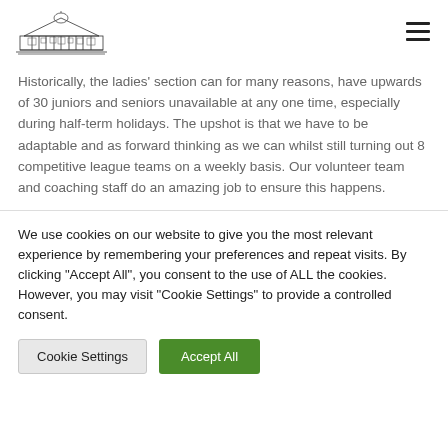[Club logo illustration] [hamburger menu icon]
Historically, the ladies' section can for many reasons, have upwards of 30 juniors and seniors unavailable at any one time, especially during half-term holidays. The upshot is that we have to be adaptable and as forward thinking as we can whilst still turning out 8 competitive league teams on a weekly basis. Our volunteer team and coaching staff do an amazing job to ensure this happens.
We use cookies on our website to give you the most relevant experience by remembering your preferences and repeat visits. By clicking "Accept All", you consent to the use of ALL the cookies. However, you may visit "Cookie Settings" to provide a controlled consent.
Cookie Settings | Accept All